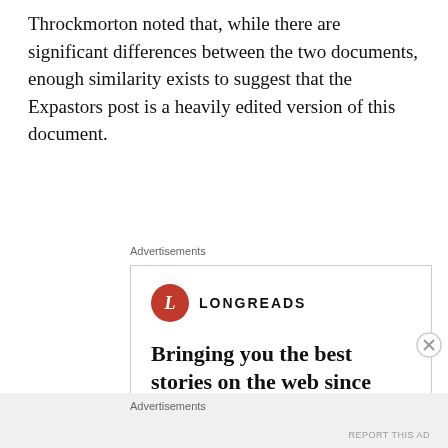Throckmorton noted that, while there are significant differences between the two documents, enough similarity exists to suggest that the Expastors post is a heavily edited version of this document.
Advertisements
[Figure (infographic): Longreads advertisement with red circular logo with 'L', brand name LONGREADS, tagline 'Bringing you the best stories on the web since 2009.', and a red 'Start reading' button.]
Advertisements
REPORT THIS AD